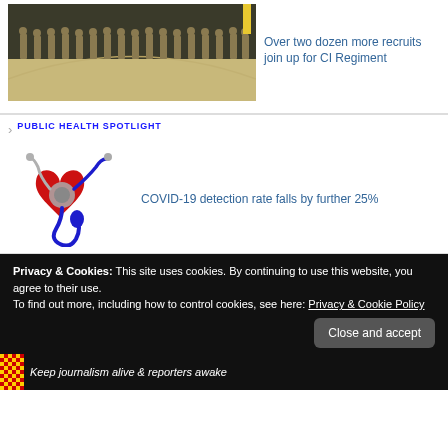[Figure (photo): Military recruits standing in formation inside a gymnasium/hall, wearing tan/camouflage uniforms.]
Over two dozen more recruits join up for CI Regiment
[Figure (illustration): Public Health Spotlight logo: a red heart with a stethoscope, blue stethoscope tube, gray head piece.]
PUBLIC HEALTH SPOTLIGHT
COVID-19 detection rate falls by further 25%
Privacy & Cookies: This site uses cookies. By continuing to use this website, you agree to their use.
To find out more, including how to control cookies, see here: Privacy & Cookie Policy
Close and accept
Keep journalism alive & reporters awake